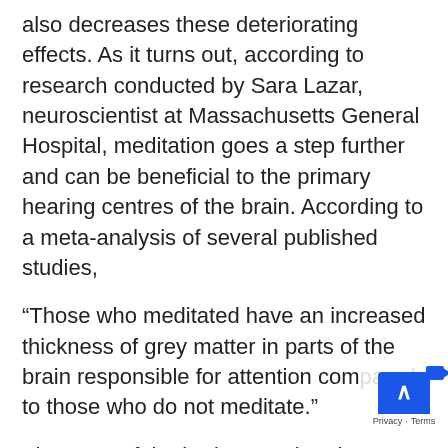also decreases these deteriorating effects. As it turns out, according to research conducted by Sara Lazar, neuroscientist at Massachusetts General Hospital, meditation goes a step further and can be beneficial to the primary hearing centres of the brain. According to a meta-analysis of several published studies,
“Those who meditated have an increased thickness of grey matter in parts of the brain responsible for attention compared to those who do not meditate.”
The parts of the brain associated